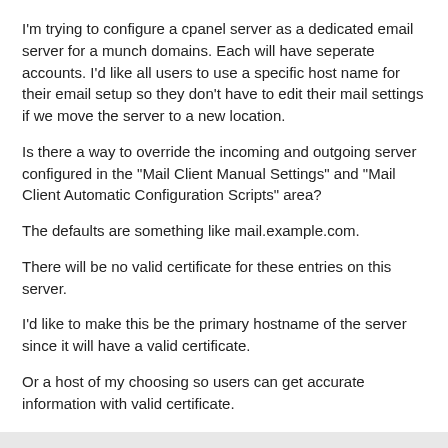I'm trying to configure a cpanel server as a dedicated email server for a munch domains. Each will have seperate accounts. I'd like all users to use a specific host name for their email setup so they don't have to edit their mail settings if we move the server to a new location.
Is there a way to override the incoming and outgoing server configured in the "Mail Client Manual Settings" and "Mail Client Automatic Configuration Scripts" area?
The defaults are something like mail.example.com.
There will be no valid certificate for these entries on this server.
I'd like to make this be the primary hostname of the server since it will have a valid certificate.
Or a host of my choosing so users can get accurate information with valid certificate.
- Mike